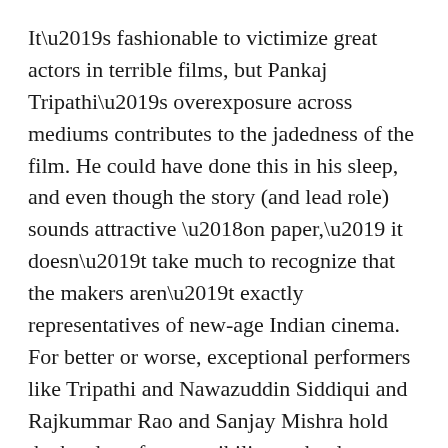It’s fashionable to victimize great actors in terrible films, but Pankaj Tripathi’s overexposure across mediums contributes to the jadedness of the film. He could have done this in his sleep, and even though the story (and lead role) sounds attractive ‘on paper,’ it doesn’t take much to recognize that the makers aren’t exactly representatives of new-age Indian cinema. For better or worse, exceptional performers like Tripathi and Nawazuddin Siddiqui and Rajkummar Rao and Sanjay Mishra hold the burden of responsibility to the dormant movie-loving souls they’ve awakened over the last decade. While bills must still be paid, and there’s no dearth of opportunity in showbiz anymore, gifted actors must constantly revise the art of challenging themselves.